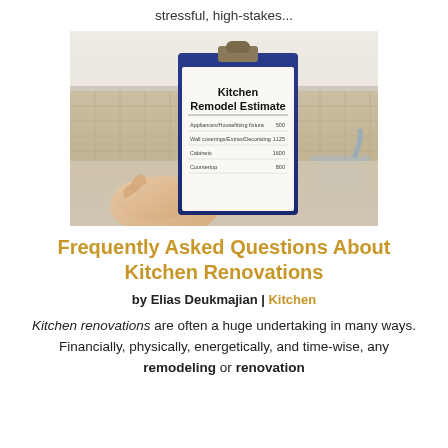stressful, high-stakes...
[Figure (photo): Person holding a clipboard with a Kitchen Remodel Estimate document, with a kitchen background showing cabinets and backsplash tiles.]
Frequently Asked Questions About Kitchen Renovations
by Elias Deukmajian | Kitchen
Kitchen renovations are often a huge undertaking in many ways. Financially, physically, energetically, and time-wise, any remodeling or renovation